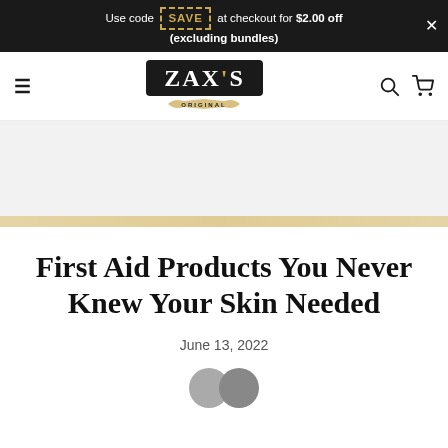Use code SAVE at checkout for $2.00 off (excluding bundles)
[Figure (logo): Zax's Original logo - white text on dark background with gold ribbon]
[Figure (other): Advertisement banner area (blank/gray)]
First Aid Products You Never Knew Your Skin Needed
June 13, 2022